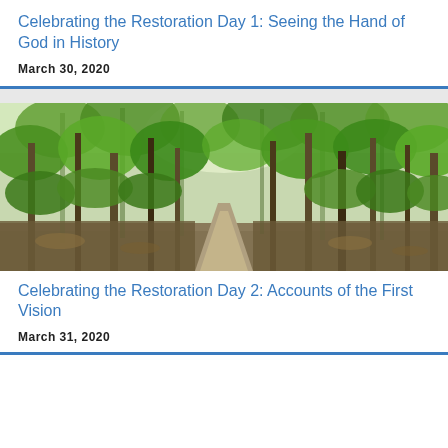Celebrating the Restoration Day 1: Seeing the Hand of God in History
March 30, 2020
[Figure (photo): A winding dirt path through a lush green forest with tall thin trees and dense foliage]
Celebrating the Restoration Day 2: Accounts of the First Vision
March 31, 2020